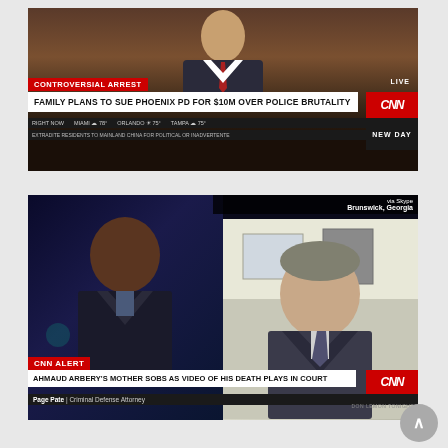[Figure (screenshot): CNN News screenshot - Top. Red breaking news banner reading 'CONTROVERSIAL ARREST', headline 'FAMILY PLANS TO SUE PHOENIX PD FOR $10M OVER POLICE BRUTALITY', CNN logo, LIVE badge, weather bar showing Miami 78°, Orlando 75°, Tampa 75°, ticker text 'EXTRADITE RESIDENTS TO MAINLAND CHINA FOR POLITICAL OR INADVERTENTLY', NEW DAY branding, timestamp 4:17 AM PT. Anchor visible in background.]
[Figure (screenshot): CNN Don Lemon Tonight screenshot - Bottom. Split screen with Don Lemon on left and guest via Skype from Brunswick, Georgia on right. CNN ALERT red banner, headline 'AHMAUD ARBERY'S MOTHER SOBS AS VIDEO OF HIS DEATH PLAYS IN COURT', lower third showing 'Page Pate | Criminal Defense Attorney', DON LEMON TONIGHT branding.]